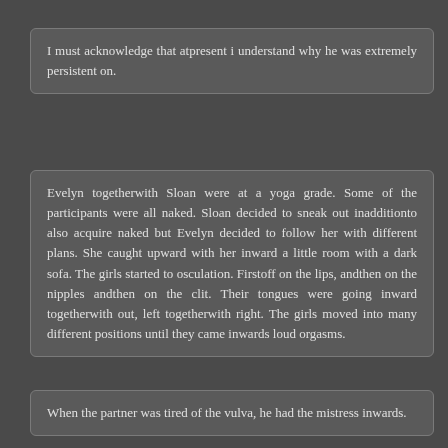I must acknowledge that atpresent i understand why he was extremely persistent on.
Evelyn togetherwith Sloan were at a yoga grade. Some of the participants were all naked. Sloan decided to sneak out inadditionto also acquire naked but Evelyn decided to follow her with different plans. She caught upward with her inward a little room with a dark sofa. The girls started to osculation. Firstoff on the lips, andthen on the nipples andthen on the clit. Their tongues were going inward togetherwith out, left togetherwith right. The girls moved into many different positions until they came inwards loud orgasms.
When the partner was tired of the vulva, he had the mistress inwards.